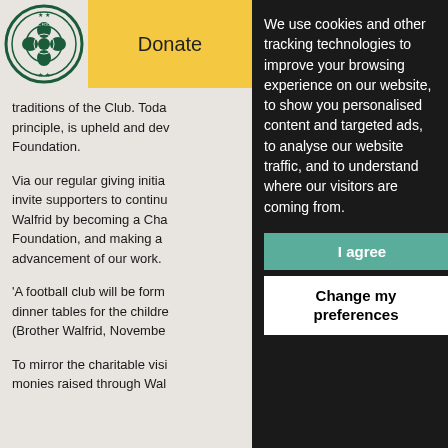[Figure (logo): Celtic FC Foundation circular logo with shamrock and football motif]
Donate
traditions of the Club. Toda principle, is upheld and dev Foundation.
Via our regular giving initia invite supporters to continu Walfrid by becoming a Cha Foundation, and making a advancement of our work.
'A football club will be form dinner tables for the childre (Brother Walfrid, Novembe
To mirror the charitable visi monies raised through Wal
We use cookies and other tracking technologies to improve your browsing experience on our website, to show you personalised content and targeted ads, to analyse our website traffic, and to understand where our visitors are coming from.
I agree
Change my preferences